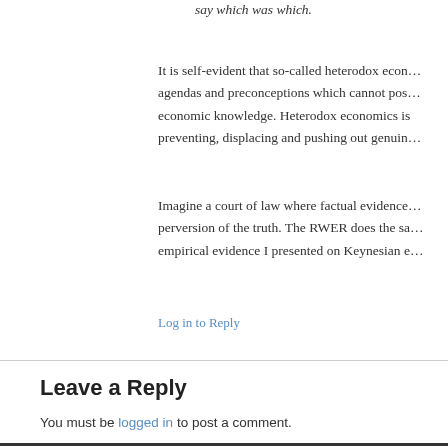say which was which.
It is self-evident that so-called heterodox econ… agendas and preconceptions which cannot pos… economic knowledge. Heterodox economics is preventing, displacing and pushing out genuin…
Imagine a court of law where factual evidence… perversion of the truth. The RWER does the sa… empirical evidence I presented on Keynesian e…
Log in to Reply
Leave a Reply
You must be logged in to post a comment.